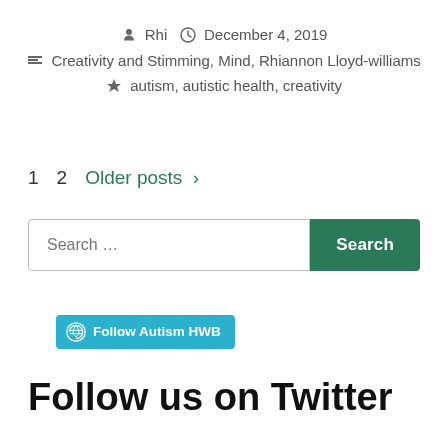Rhi   December 4, 2019
Creativity and Stimming, Mind, Rhiannon Lloyd-williams
autism, autistic health, creativity
1   2   Older posts >
Search ...
Follow Autism HWB
Follow us on Twitter